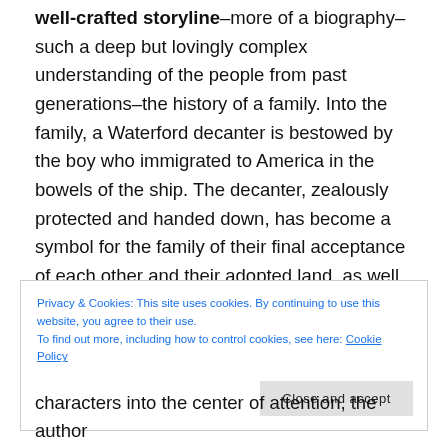well-crafted storyline–more of a biography–such a deep but lovingly complex understanding of the people from past generations–the history of a family. Into the family, a Waterford decanter is bestowed by the boy who immigrated to America in the bowels of the ship. The decanter, zealously protected and handed down, has become a symbol for the family of their final acceptance of each other and their adopted land, as well as a symbol of the truths that are eventually exposed.
Privacy & Cookies: This site uses cookies. By continuing to use this website, you agree to their use.
To find out more, including how to control cookies, see here: Cookie Policy
characters into the center of attention, the author